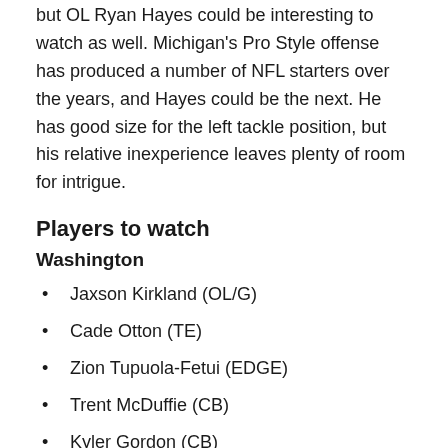but OL Ryan Hayes could be interesting to watch as well. Michigan's Pro Style offense has produced a number of NFL starters over the years, and Hayes could be the next. He has good size for the left tackle position, but his relative inexperience leaves plenty of room for intrigue.
Players to watch
Washington
Jaxson Kirkland (OL/G)
Cade Otton (TE)
Zion Tupuola-Fetui (EDGE)
Trent McDuffie (CB)
Kyler Gordon (CB)